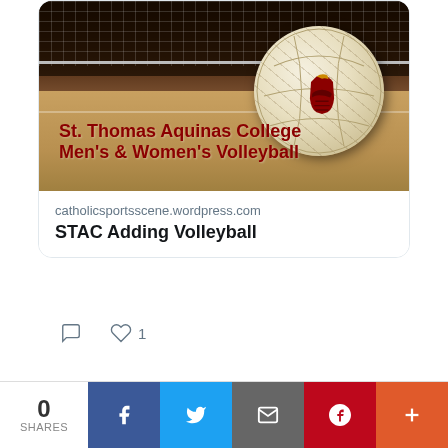[Figure (photo): St. Thomas Aquinas College Men's & Women's Volleyball promotional image showing a white volleyball with a Spartan helmet logo on a wooden court floor, with a net in the background. Text overlay reads 'St. Thomas Aquinas College Men's & Women's Volleyball']
catholicsportsscene.wordpress.com
STAC Adding Volleyball
♡ 1
Catholic New ... @Catholic... · Aug 16
Fordham Prep Graduate Cameron Young Competing in BMW Championship
catholicsportsscene.wordpress.com/2022/08/16/you… #archny #FordhamPrep #CHSAA_NYC #PGATour #ACC #WakeForest
0 SHARES  [Facebook] [Twitter] [Email] [Pinterest] [More]